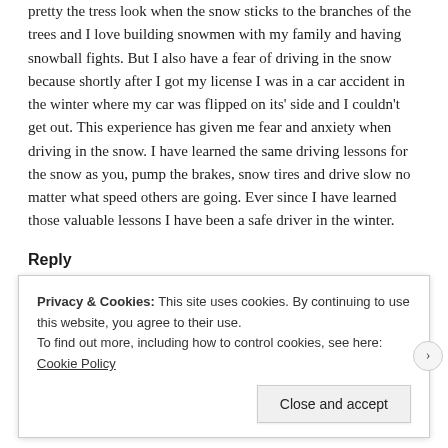pretty the tress look when the snow sticks to the branches of the trees and I love building snowmen with my family and having snowball fights. But I also have a fear of driving in the snow because shortly after I got my license I was in a car accident in the winter where my car was flipped on its' side and I couldn't get out. This experience has given me fear and anxiety when driving in the snow. I have learned the same driving lessons for the snow as you, pump the brakes, snow tires and drive slow no matter what speed others are going. Ever since I have learned those valuable lessons I have been a safe driver in the winter.
Reply
Privacy & Cookies: This site uses cookies. By continuing to use this website, you agree to their use.
To find out more, including how to control cookies, see here: Cookie Policy
Close and accept